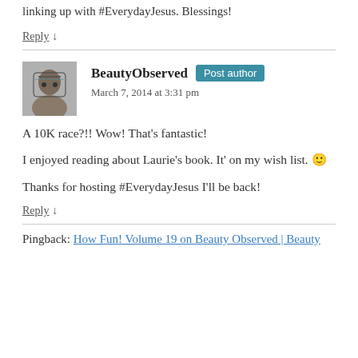linking up with #EverydayJesus. Blessings!
Reply ↓
BeautyObserved Post author
March 7, 2014 at 3:31 pm
A 10K race?!! Wow! That's fantastic!
I enjoyed reading about Laurie's book. It' on my wish list. 🙂
Thanks for hosting #EverydayJesus I'll be back!
Reply ↓
Pingback: How Fun! Volume 19 on Beauty Observed | Beauty